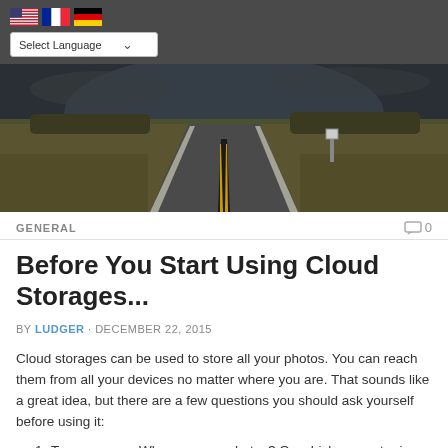Flags: US, France, Germany | Select Language dropdown
[Figure (photo): A long straight road stretching to the horizon through open farmland under a dramatic dark sky]
GENERAL
Before You Start Using Cloud Storages...
BY LUDGER · DECEMBER 22, 2015
Cloud storages can be used to store all your photos. You can reach them from all your devices no matter where you are. That sounds like a great idea, but there are a few questions you should ask yourself before using it:
Transparency: Where are my photos? On which computer in which country? Who is moving my photos from one